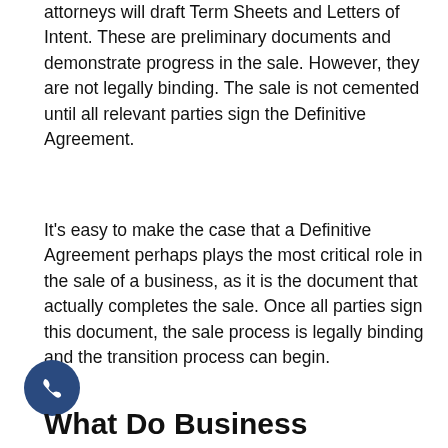attorneys will draft Term Sheets and Letters of Intent. These are preliminary documents and demonstrate progress in the sale. However, they are not legally binding. The sale is not cemented until all relevant parties sign the Definitive Agreement.
It's easy to make the case that a Definitive Agreement perhaps plays the most critical role in the sale of a business, as it is the document that actually completes the sale. Once all parties sign this document, the sale process is legally binding and the transition process can begin.
What Do Business